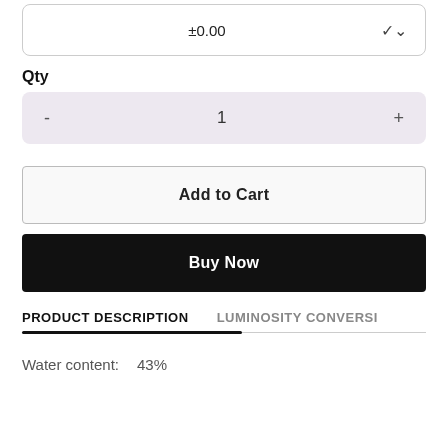±0.00
Qty
- 1 +
Add to Cart
Buy Now
PRODUCT DESCRIPTION
LUMINOSITY CONVERSI
Water content:    43%